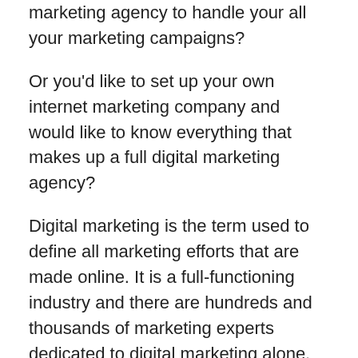marketing agency to handle your all your marketing campaigns?
Or you'd like to set up your own internet marketing company and would like to know everything that makes up a full digital marketing agency?
Digital marketing is the term used to define all marketing efforts that are made online. It is a full-functioning industry and there are hundreds and thousands of marketing experts dedicated to digital marketing alone.
For business owners, hiring a digital marketing agency has become a necessity for many reasons. To name a few, businesses hire marketing agencies to boost their growing business online, increase their web presence, and of course, rank higher in search engines.